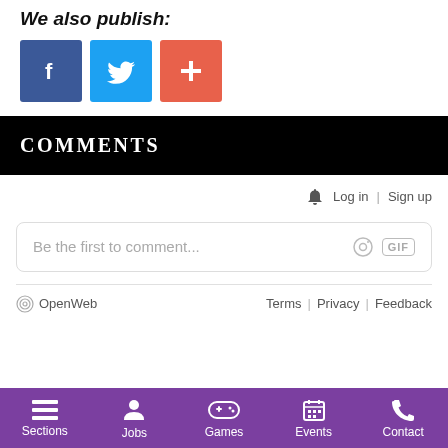We also publish:
[Figure (illustration): Three social media buttons: Facebook (blue with f icon), Twitter (light blue with bird icon), and a red/orange plus button]
COMMENTS
Log in | Sign up
Be the first to comment...
OpenWeb  Terms | Privacy | Feedback
Sections  Jobs  Games  Events  Contact